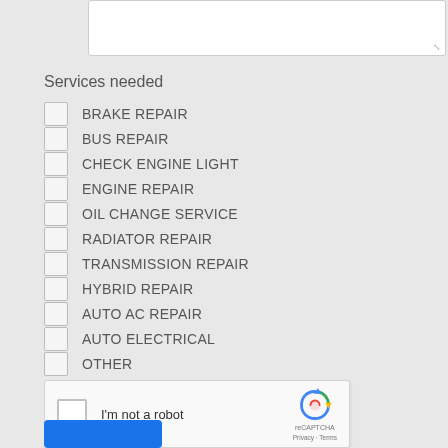[Figure (screenshot): Text area input box (empty), partially visible at top of page]
Services needed
BRAKE REPAIR
BUS REPAIR
CHECK ENGINE LIGHT
ENGINE REPAIR
OIL CHANGE SERVICE
RADIATOR REPAIR
TRANSMISSION REPAIR
HYBRID REPAIR
AUTO AC REPAIR
AUTO ELECTRICAL
OTHER
[Figure (screenshot): reCAPTCHA widget with checkbox labeled 'I'm not a robot' and reCAPTCHA logo with Privacy and Terms links]
[Figure (screenshot): Blue submit button (partially visible, text cut off at bottom)]